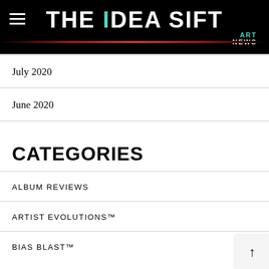THE IDEA SIFT ART NEWS
July 2020
June 2020
CATEGORIES
ALBUM REVIEWS
ARTIST EVOLUTIONS™
BIAS BLAST™